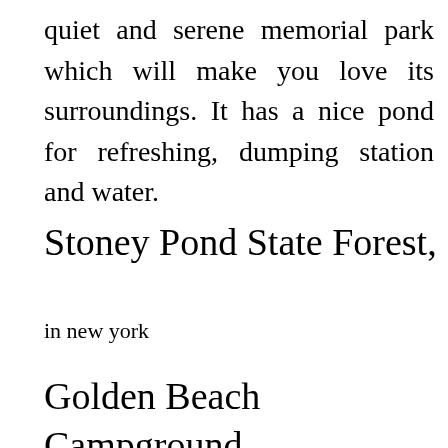quiet and serene memorial park which will make you love its surroundings. It has a nice pond for refreshing, dumping station and water.
Stoney Pond State Forest,
in new york
Golden Beach Campground